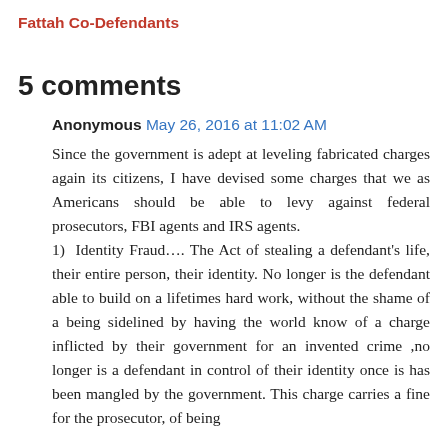Fattah Co-Defendants
5 comments
Anonymous May 26, 2016 at 11:02 AM
Since the government is adept at leveling fabricated charges again its citizens, I have devised some charges that we as Americans should be able to levy against federal prosecutors, FBI agents and IRS agents.
1) Identity Fraud…. The Act of stealing a defendant's life, their entire person, their identity. No longer is the defendant able to build on a lifetimes hard work, without the shame of a being sidelined by having the world know of a charge inflicted by their government for an invented crime ,no longer is a defendant in control of their identity once is has been mangled by the government. This charge carries a fine for the prosecutor, of being